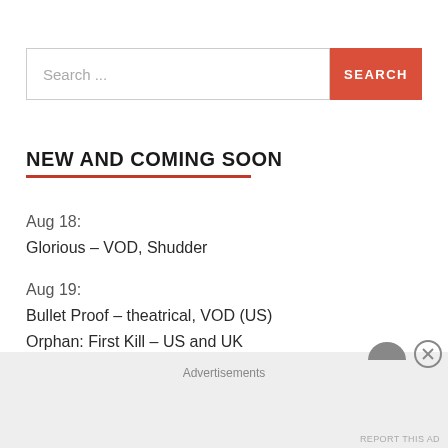Search...
NEW AND COMING SOON
Aug 18:
Glorious – VOD, Shudder
Aug 19:
Bullet Proof – theatrical, VOD (US)
Orphan: First Kill – US and UK
Aug 23:
Advertisements